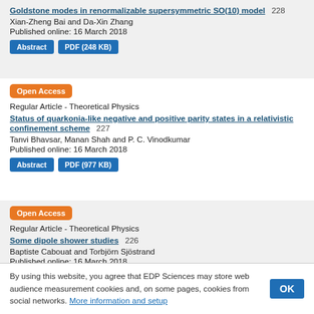Goldstone modes in renormalizable supersymmetric SO(10) model   228
Xian-Zheng Bai and Da-Xin Zhang
Published online: 16 March 2018
Open Access
Regular Article - Theoretical Physics
Status of quarkonia-like negative and positive parity states in a relativistic confinement scheme   227
Tanvi Bhavsar, Manan Shah and P. C. Vinodkumar
Published online: 16 March 2018
Open Access
Regular Article - Theoretical Physics
Some dipole shower studies   226
Baptiste Cabouat and Torbjörn Sjöstrand
Published online: 16 March 2018
By using this website, you agree that EDP Sciences may store web audience measurement cookies and, on some pages, cookies from social networks. More information and setup